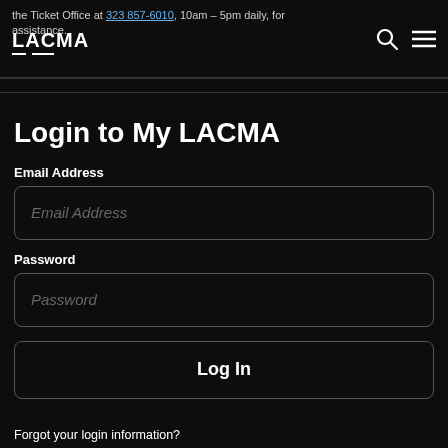the Ticket Office at 323 857-6010, 10am – 5pm daily, for assistance.
[Figure (logo): LACMA logo with two underline strokes]
Login to My LACMA
Email Address
Email Address (input placeholder)
Password
Password (input placeholder)
Log In
Forgot your login information?